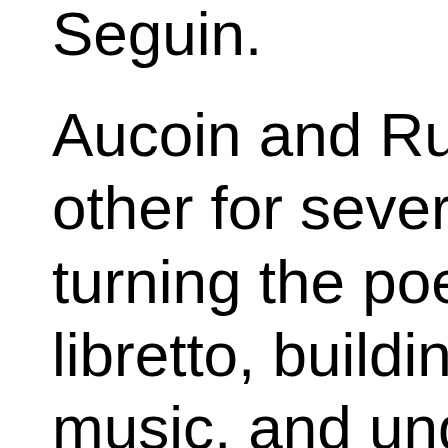Seguin. Aucoin and Ruhl wr other for several yea turning the poetry o libretto, building cha music, and understa strengths and limita They recently looke